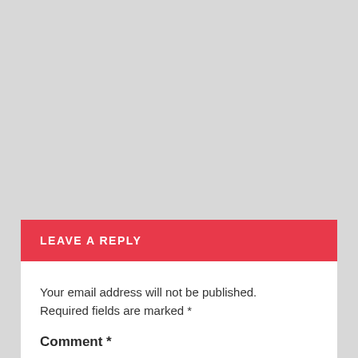LEAVE A REPLY
Your email address will not be published. Required fields are marked *
Comment *